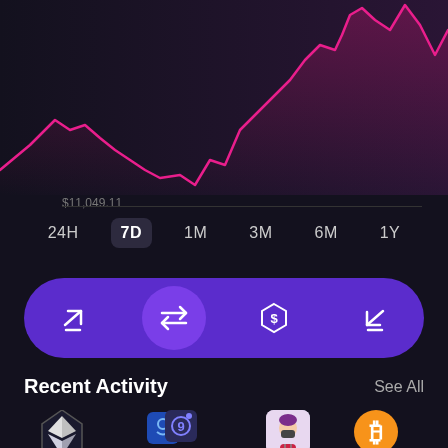[Figure (line-chart): Pink line chart on dark background showing upward price trend over 7 days, with price levels rising sharply toward top right]
$11,049.11
24H  7D  1M  3M  6M  1Y
[Figure (infographic): Purple pill-shaped action bar with four icons: send (arrow up-right), swap (double arrows), earn (dollar hexagon), receive (arrow down-left). Swap icon is in active highlighted state.]
Recent Activity
See All
[Figure (illustration): ETH Ethereum token icon (white hexagon with diamond shape)]
ETH
[Figure (illustration): SRM and GRT token icons overlapping]
SRM to GRT
[Figure (illustration): NFT avatar with mask and purple hair]
[Figure (illustration): BTC Bitcoin token icon (orange circle with B)]
BTC